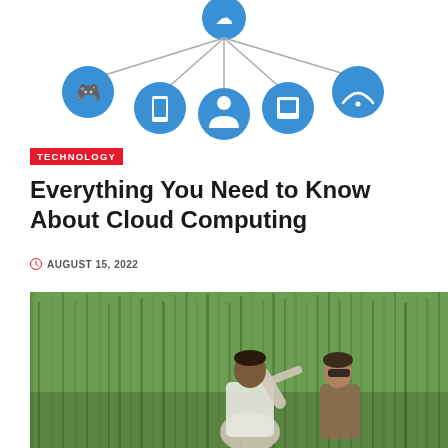[Figure (infographic): Cloud computing network diagram showing a central hub connected to icons representing gaming controller, smartphone, person/user, tablet/square device, and WiFi symbol, rendered in blue circles with connecting lines]
TECHNOLOGY
Everything You Need to Know About Cloud Computing
AUGUST 15, 2022
[Figure (photo): Two people standing in front of a corn field, one man in a white shirt gesturing and another person wearing sunglasses, photographed outdoors]